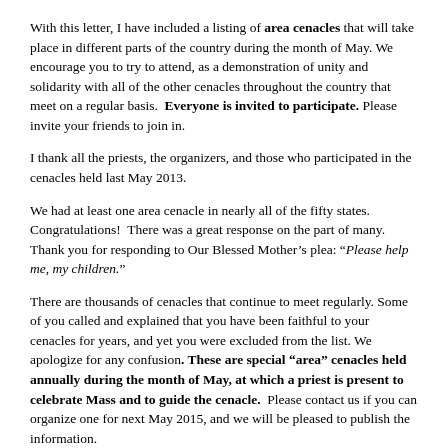With this letter, I have included a listing of area cenacles that will take place in different parts of the country during the month of May. We encourage you to try to attend, as a demonstration of unity and solidarity with all of the other cenacles throughout the country that meet on a regular basis.  Everyone is invited to participate. Please invite your friends to join in.
I thank all the priests, the organizers, and those who participated in the cenacles held last May 2013.
We had at least one area cenacle in nearly all of the fifty states. Congratulations!  There was a great response on the part of many.  Thank you for responding to Our Blessed Mother’s plea: “Please help me, my children.”
There are thousands of cenacles that continue to meet regularly. Some of you called and explained that you have been faithful to your cenacles for years, and yet you were excluded from the list. We apologize for any confusion. These are special “area” cenacles held annually during the month of May, at which a priest is present to celebrate Mass and to guide the cenacle.  Please contact us if you can organize one for next May 2015, and we will be pleased to publish the information.
Mailing List is Private